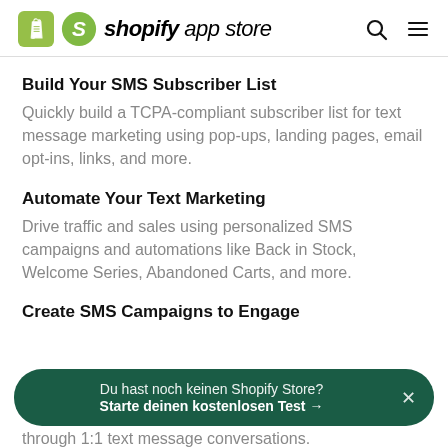shopify app store
Build Your SMS Subscriber List
Quickly build a TCPA-compliant subscriber list for text message marketing using pop-ups, landing pages, email opt-ins, links, and more.
Automate Your Text Marketing
Drive traffic and sales using personalized SMS campaigns and automations like Back in Stock, Welcome Series, Abandoned Carts, and more.
Create SMS Campaigns to Engage
through 1:1 text message conversations.
Du hast noch keinen Shopify Store? Starte deinen kostenlosen Test →